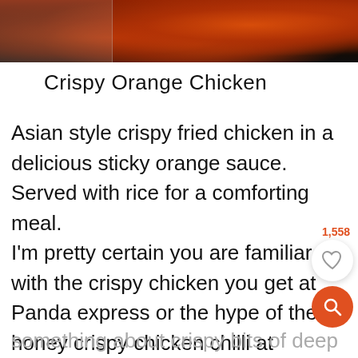[Figure (photo): Partial photo of crispy orange chicken pieces with glossy sauce, dark background, top of page]
Crispy Orange Chicken
Asian style crispy fried chicken in a delicious sticky orange sauce. Served with rice for a comforting meal.
I'm pretty certain you are familiar with the crispy chicken you get at Panda express or the hype of the honey crispy chicken chilli at Sidewok in India. Totally worth the hype by the way. There is
something about crispy bits of deep fried chicken. There is something about...